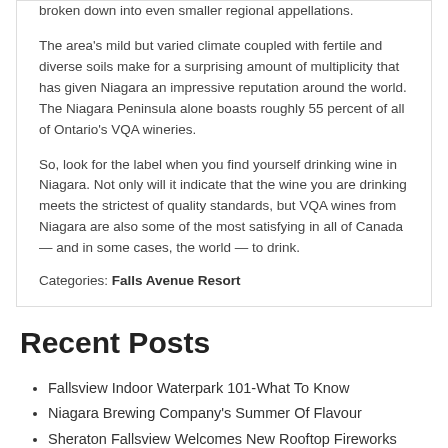broken down into even smaller regional appellations.
The area's mild but varied climate coupled with fertile and diverse soils make for a surprising amount of multiplicity that has given Niagara an impressive reputation around the world. The Niagara Peninsula alone boasts roughly 55 percent of all of Ontario's VQA wineries.
So, look for the label when you find yourself drinking wine in Niagara. Not only will it indicate that the wine you are drinking meets the strictest of quality standards, but VQA wines from Niagara are also some of the most satisfying in all of Canada — and in some cases, the world — to drink.
Categories: Falls Avenue Resort
Recent Posts
Fallsview Indoor Waterpark 101-What To Know
Niagara Brewing Company's Summer Of Flavour
Sheraton Fallsview Welcomes New Rooftop Fireworks